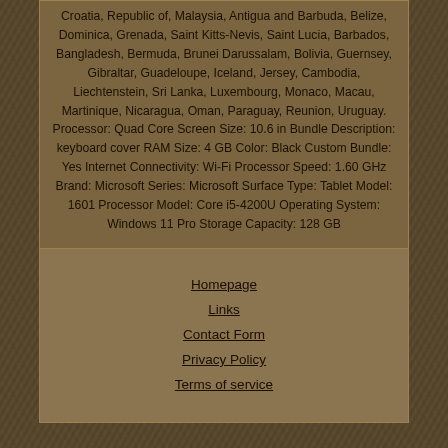Croatia, Republic of, Malaysia, Antigua and Barbuda, Belize, Dominica, Grenada, Saint Kitts-Nevis, Saint Lucia, Barbados, Bangladesh, Bermuda, Brunei Darussalam, Bolivia, Guernsey, Gibraltar, Guadeloupe, Iceland, Jersey, Cambodia, Liechtenstein, Sri Lanka, Luxembourg, Monaco, Macau, Martinique, Nicaragua, Oman, Paraguay, Reunion, Uruguay. Processor: Quad Core Screen Size: 10.6 in Bundle Description: keyboard cover RAM Size: 4 GB Color: Black Custom Bundle: Yes Internet Connectivity: Wi-Fi Processor Speed: 1.60 GHz Brand: Microsoft Series: Microsoft Surface Type: Tablet Model: 1601 Processor Model: Core i5-4200U Operating System: Windows 11 Pro Storage Capacity: 128 GB
Homepage
Links
Contact Form
Privacy Policy
Terms of service